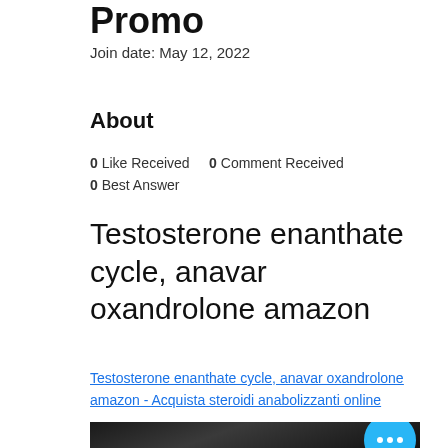Promo
Join date: May 12, 2022
About
0 Like Received   0 Comment Received
0 Best Answer
Testosterone enanthate cycle, anavar oxandrolone amazon
Testosterone enanthate cycle, anavar oxandrolone amazon - Acquista steroidi anabolizzanti online
[Figure (photo): Blurred dark background image with a floating blue circular button showing three dots (more options)]